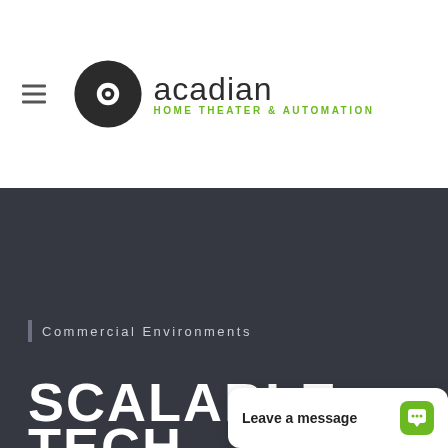[Figure (logo): Acadian Home Theater & Automation logo with circular eye/camera icon in black and green, and company name text]
Commercial Environments
SCALABLE TECH
[Figure (screenshot): Live chat widget overlay with text 'Leave a message' and green chat icon]